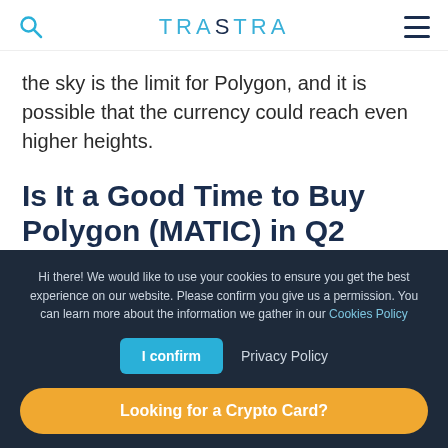TRASTRA
the sky is the limit for Polygon, and it is possible that the currency could reach even higher heights.
Is It a Good Time to Buy Polygon (MATIC) in Q2 2022?
Hi there! We would like to use your cookies to ensure you get the best experience on our website. Please confirm you give us a permission. You can learn more about the information we gather in our Cookies Policy
I confirm  Privacy Policy
Looking for a Crypto Card?